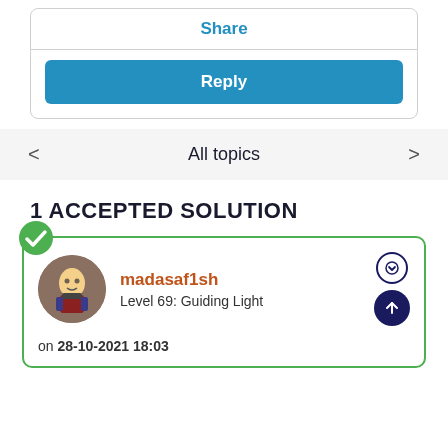Share
Reply
All topics
1 ACCEPTED SOLUTION
madasaf1sh
Level 69: Guiding Light
on 28-10-2021 18:03